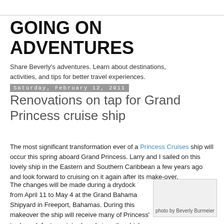GOING ON ADVENTURES
Share Beverly's adventures. Learn about destinations, activities, and tips for better travel experiences.
Saturday, February 12, 2011
Renovations on tap for Grand Princess cruise ship
The most significant transformation ever of a Princess Cruises ship will occur this spring aboard Grand Princess. Larry and I sailed on this lovely ship in the Eastern and Southern Caribbean a few years ago and look forward to cruising on it again after its make-over.
The changes will be made during a drydock from April 11 to May 4 at the Grand Bahama Shipyard in Freeport, Bahamas. During this makeover the ship will receive many of Princess' trademark features introduced since the ship's 1998 debut including the signature Piazza atrium. Several new
[Figure (photo): photo by Beverly Burmeier]